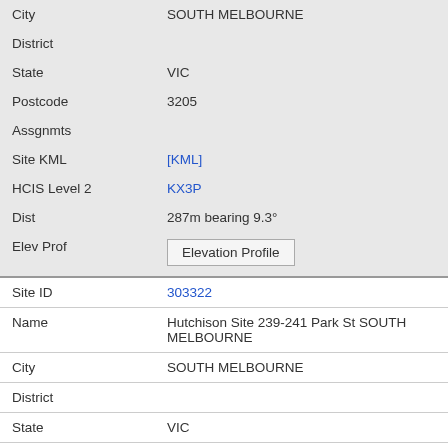| Field | Value |
| --- | --- |
| City | SOUTH MELBOURNE |
| District |  |
| State | VIC |
| Postcode | 3205 |
| Assgnmts |  |
| Site KML | [KML] |
| HCIS Level 2 | KX3P |
| Dist | 287m bearing 9.3° |
| Elev Prof | Elevation Profile |
| Site ID | 303322 |
| Name | Hutchison Site 239-241 Park St SOUTH MELBOURNE |
| City | SOUTH MELBOURNE |
| District |  |
| State | VIC |
| Postcode | 3205 |
| Assgnmts | 78 |